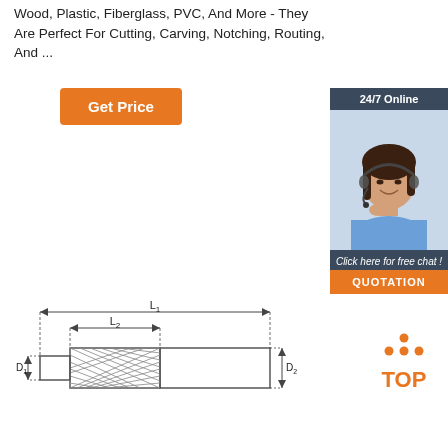Wood, Plastic, Fiberglass, PVC, And More - They Are Perfect For Cutting, Carving, Notching, Routing, And ...
[Figure (other): Orange 'Get Price' button]
[Figure (infographic): 24/7 Online chat box with photo of female customer service agent wearing headset, 'Click here for free chat!' text, and orange QUOTATION button]
[Figure (engineering-diagram): Technical engineering diagram of a cylindrical tool (likely a router bit or burr) showing dimensions L1 (total length), L2 (cutting length), D1 (shank diameter), and D2 (head diameter) with hatching on the cutting portion]
[Figure (logo): TOP badge logo with orange dots arranged in triangle above the word TOP in orange]